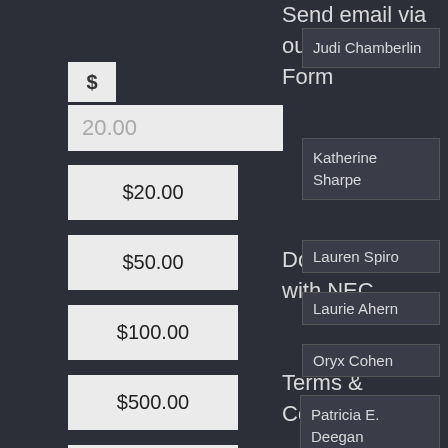$
20.00
$20.00
$50.00
$100.00
$500.00
$1,000.00
Give a custom amount
Send email via our Contact Form
Doing Business with NEC
Terms & Conditions
Privacy Policy
Table of Contents
Judi Chamberlin
Katherine Sharpe
Lauren Spiro
Laurie Ahern
Oryx Cohen
Patricia E. Deegan
PJ Moynihan
Robert Whitaker
Will Hall